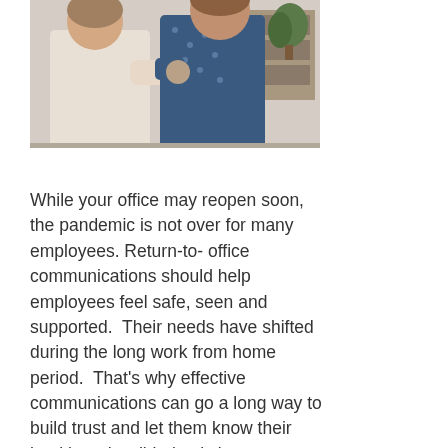[Figure (photo): Two people in an office doing an elbow bump greeting. One person in a white top, another in a dark blue polka dot top. Office shelving and plant visible in background.]
While your office may reopen soon, the pandemic is not over for many employees. Return-to- office communications should help employees feel safe, seen and supported.  Their needs have shifted during the long work from home period.  That's why effective communications can go a long way to build trust and let them know their health and well-being is important to you.